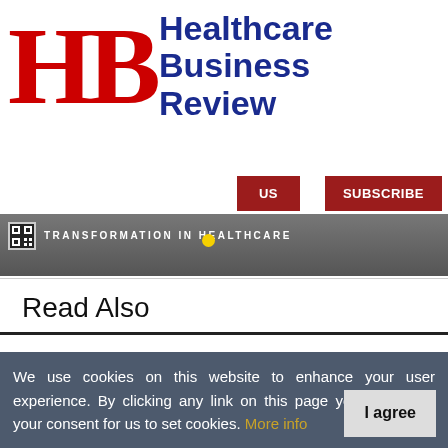[Figure (logo): Healthcare Business Review logo with red HB letters and dark blue text]
US
SUBSCRIBE
[Figure (photo): Partial image strip showing text TRANSFORMATION IN HEALTHCARE with QR code and yellow dot]
Read Also
Evolving Technology With Changing Healthcare Landscape
We use cookies on this website to enhance your user experience. By clicking any link on this page you are giving your consent for us to set cookies. More info